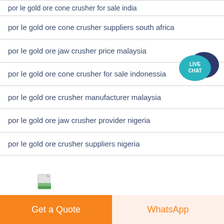por le gold ore cone crusher for sale india
por le gold ore cone crusher suppliers south africa
por le gold ore jaw crusher price malaysia
por le gold ore cone crusher for sale indonessia
por le gold ore crusher manufacturer malaysia
por le gold ore jaw crusher provider nigeria
por le gold ore crusher suppliers nigeria
[Figure (logo): Live Chat speech bubble widget with teal background and white text]
[Figure (illustration): Small document/file icon with green color stripes]
VSI6X SAND MAKING MACHINE
Due to the increasing market demand for the scale,
[Figure (other): Blue square navigation arrow button]
Get a Quote
WhatsApp